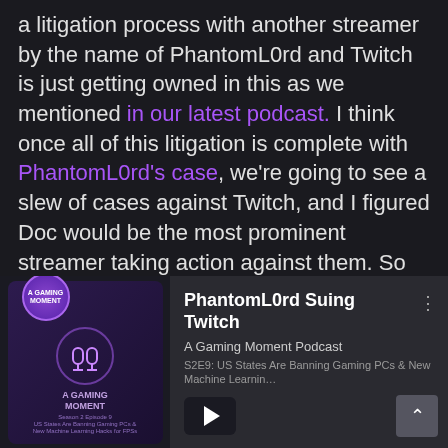a litigation process with another streamer by the name of PhantomL0rd and Twitch is just getting owned in this as we mentioned in our latest podcast. I think once all of this litigation is complete with PhantomL0rd's case, we're going to see a slew of cases against Twitch, and I figured Doc would be the most prominent streamer taking action against them. So Twitch should be swift in settling these cases.
[Figure (screenshot): Podcast player card showing 'PhantomL0rd Suing Twitch' episode from A Gaming Moment Podcast, S2E9: US States Are Banning Gaming PCs & New Machine Learning, with a play button and purple podcast artwork thumbnail]